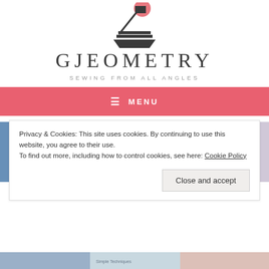[Figure (logo): Gjeometry sewing blog logo: a needle and sewing machine silhouette with a pink circle accent above a trapezoid base]
GJEOMETRY
SEWING FROM ALL ANGLES
≡ MENU
[Figure (photo): Partial photo strip showing sewing-related books and fabric materials in a colorful collage]
Privacy & Cookies: This site uses cookies. By continuing to use this website, you agree to their use.
To find out more, including how to control cookies, see here: Cookie Policy
Close and accept
[Figure (photo): Bottom photo strip showing additional sewing materials and books]